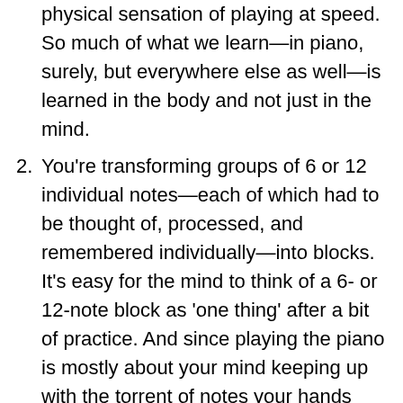physical sensation of playing at speed. So much of what we learn—in piano, surely, but everywhere else as well—is learned in the body and not just in the mind.
2. You're transforming groups of 6 or 12 individual notes—each of which had to be thought of, processed, and remembered individually—into blocks. It's easy for the mind to think of a 6- or 12-note block as 'one thing' after a bit of practice. And since playing the piano is mostly about your mind keeping up with the torrent of notes your hands have to play, any 'chunking' you can do of this overwhelming amount of information allows you to speed up.
3. The breaks, at the beginning, are much longer than the time you spend playing. When doing